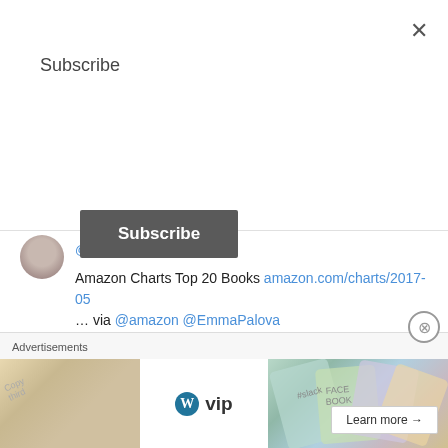Subscribe
Subscribe (button)
@EmmaPalova
Amazon Charts Top 20 Books amazon.com/charts/2017-05 … via @amazon @EmmaPalova
Jun 2, 2017
Emma Palova
@EmmaPalova
Today's Horoscope for Taurus bytheheavens.com/horoscopes/tau... via @bytheheavens @EmmaPalova
Advertisements
[Figure (screenshot): WordPress VIP advertisement banner with logo and Learn more button]